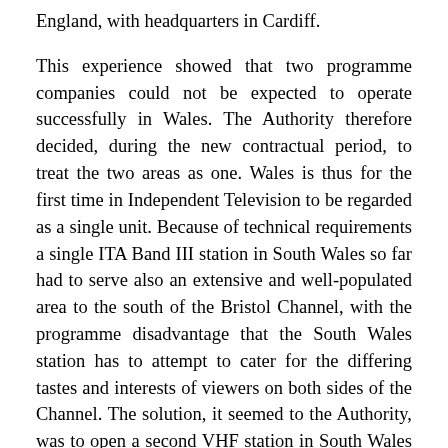England, with headquarters in Cardiff.

This experience showed that two programme companies could not be expected to operate successfully in Wales. The Authority therefore decided, during the new contractual period, to treat the two areas as one. Wales is thus for the first time in Independent Television to be regarded as a single unit. Because of technical requirements a single ITA Band III station in South Wales so far had to serve also an extensive and well-populated area to the south of the Bristol Channel, with the programme disadvantage that the South Wales station has to attempt to cater for the differing tastes and interests of viewers on both sides of the Channel. The solution, it seemed to the Authority, was to open a second VHF station in South Wales which would enable both Welsh and English viewers to be provided with their own “edition” of the Independent Television service. This